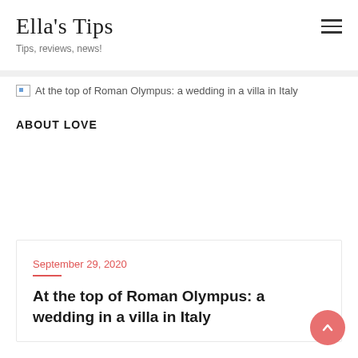Ella's Tips
Tips, reviews, news!
[Figure (illustration): Broken image placeholder with alt text: At the top of Roman Olympus: a wedding in a villa in Italy]
ABOUT LOVE
September 29, 2020
At the top of Roman Olympus: a wedding in a villa in Italy